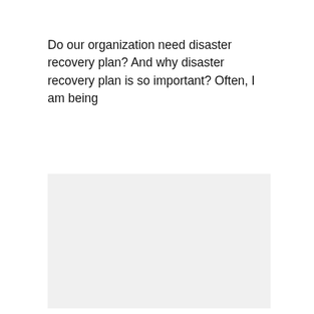Do our organization need disaster recovery plan? And why disaster recovery plan is so important? Often, I am being
[Figure (photo): Gray placeholder image box]
asked, “Why my company requires DRaaS (Disaster-Recovery-as-a-Service)?” too. These remind me of what my insurance agent shares with me “Whether you believe it or not, when something happens, insurance will be able to save your life”. It is same philosophy for